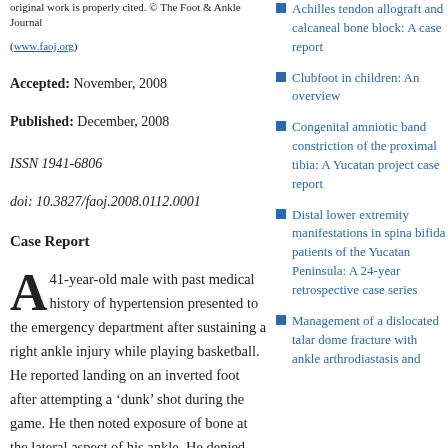original work is properly cited. © The Foot & Ankle Journal
(www.faoj.org)
Accepted: November, 2008
Published: December, 2008
ISSN 1941-6806
doi: 10.3827/faoj.2008.0112.0001
Case Report
A 41-year-old male with past medical history of hypertension presented to the emergency department after sustaining a right ankle injury while playing basketball. He reported landing on an inverted foot after attempting a ‘dunk’ shot during the game. He then noted exposure of bone at the lateral aspect of his ankle. He denied losing consciousness or sustaining any
Achilles tendon allograft and calcaneal bone block: A case report
Clubfoot in children: An overview
Congenital amniotic band constriction of the proximal tibia: A Yucatan project case report
Distal lower extremity manifestations in spina bifida patients of the Yucatan Peninsula: A 24-year retrospective case series
Management of a dislocated talar dome fracture with ankle arthrodiastasis and